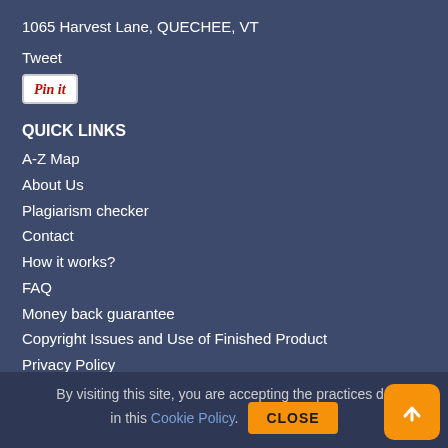1065 Harvest Lane, QUECHEE, VT
Tweet
[Figure (logo): Pinterest 'Pin it' button with red italic cursive text on white background with border]
QUICK LINKS
A-Z Map
About Us
Plagiarism checker
Contact
How it works?
FAQ
Money back guarantee
Copyright Issues and Use of Finished Product
Privacy Policy
Cookie Policy
Revision policy
By visiting this site, you are accepting the practices described in this Cookie Policy.